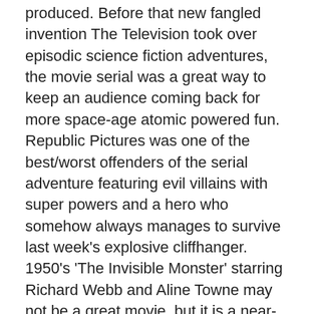produced. Before that new fangled invention The Television took over episodic science fiction adventures, the movie serial was a great way to keep an audience coming back for more space-age atomic powered fun. Republic Pictures was one of the best/worst offenders of the serial adventure featuring evil villains with super powers and a hero who somehow always manages to survive last week's explosive cliffhanger. 1950's 'The Invisible Monster' starring Richard Webb and Aline Towne may not be a great movie, but it is a near-perfect serial adventure!
You can't go for very long without some maniac using the good deeds of science and turning them into a weapon of evil! The Phantom Ruler (Stanley Price) has taken a new ray as well as a special form of